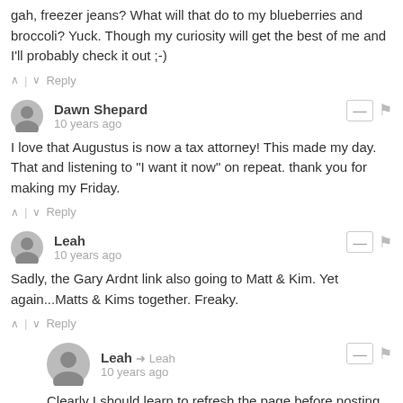gah, freezer jeans? What will that do to my blueberries and broccoli? Yuck. Though my curiosity will get the best of me and I'll probably check it out ;-)
^ | v Reply
Dawn Shepard
10 years ago
I love that Augustus is now a tax attorney! This made my day. That and listening to "I want it now" on repeat. thank you for making my Friday.
^ | v Reply
Leah
10 years ago
Sadly, the Gary Ardnt link also going to Matt & Kim. Yet again...Matts & Kims together. Freaky.
^ | v Reply
Leah → Leah
10 years ago
Clearly I should learn to refresh the page before posting things...Clearly...it happened.